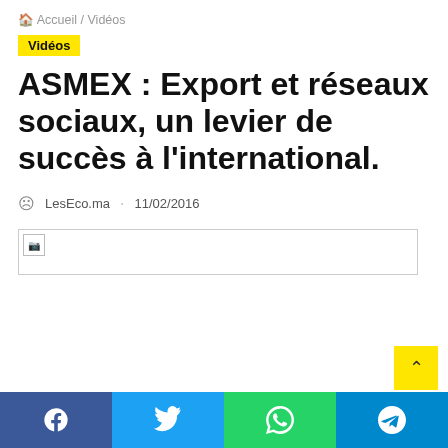🏠 Accueil / Vidéos
Vidéos
ASMEX : Export et réseaux sociaux, un levier de succès à l'international.
LesEco.ma · 11/02/2016
[Figure (photo): Broken image placeholder for a video or photo related to ASMEX article]
Facebook Twitter WhatsApp Telegram social share buttons